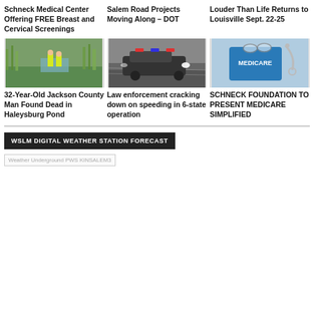Schneck Medical Center Offering FREE Breast and Cervical Screenings
Salem Road Projects Moving Along – DOT
Louder Than Life Returns to Louisville Sept. 22-25
[Figure (photo): Two workers in yellow vests near a pond with tall grass]
[Figure (photo): Police car with flashing lights in motion blur]
[Figure (photo): Medicare tablet with stethoscope]
32-Year-Old Jackson County Man Found Dead in Haleysburg Pond
Law enforcement cracking down on speeding in 6-state operation
SCHNECK FOUNDATION TO PRESENT MEDICARE SIMPLIFIED
WSLM DIGITAL WEATHER STATION FORECAST
[Figure (other): Weather Underground PWS KINSALEM3 widget placeholder]